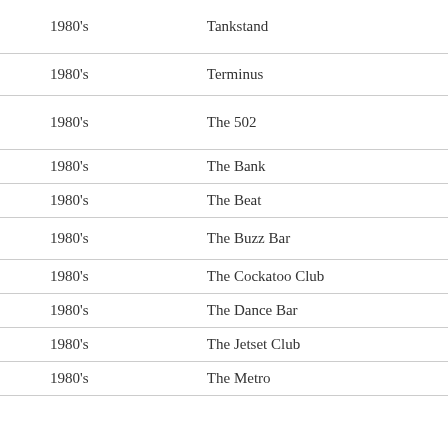| Era | Venue |
| --- | --- |
| 1980's | Tankstand |
| 1980's | Terminus |
| 1980's | The 502 |
| 1980's | The Bank |
| 1980's | The Beat |
| 1980's | The Buzz Bar |
| 1980's | The Cockatoo Club |
| 1980's | The Dance Bar |
| 1980's | The Jetset Club |
| 1980's | The Metro |